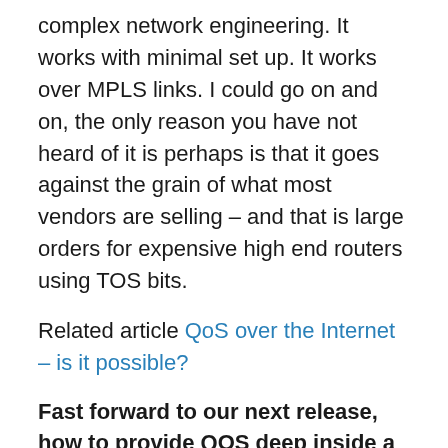complex network engineering. It works with minimal set up. It works over MPLS links. I could go on and on, the only reason you have not heard of it is perhaps is that it goes against the grain of what most vendors are selling – and that is large orders for expensive high end routers using TOS bits.
Related article QoS over the Internet – is it possible?
Fast forward to our next release, how to provide QOS deep inside a cloud or mesh network where sending or receiving IP addresses are obfuscated.
Coming this winter we plan to improve upon our QoS techniques so we can drill down inside of Mesh and Cloud networks a bit better.
As the use of NAT, distributed across mesh networks,